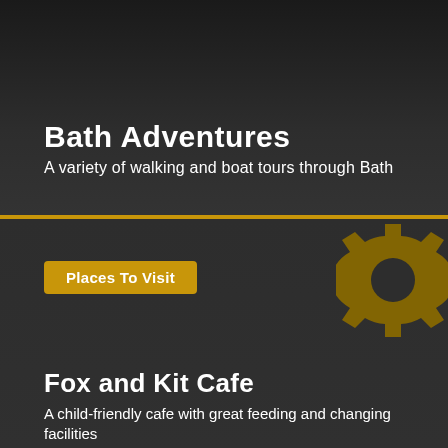Bath Adventures
A variety of walking and boat tours through Bath
Places To Visit
[Figure (illustration): Gold gear/cog icon in the top-right corner of the lower dark section]
Fox and Kit Cafe
A child-friendly cafe with great feeding and changing facilities